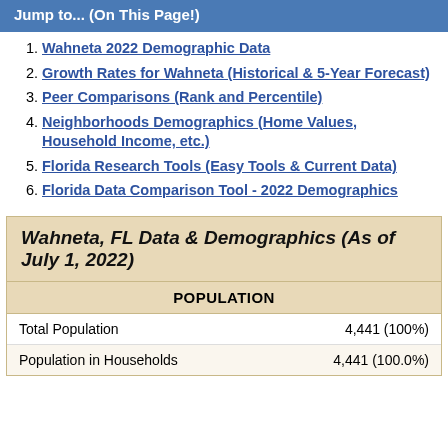Jump to... (On This Page!)
Wahneta 2022 Demographic Data
Growth Rates for Wahneta (Historical & 5-Year Forecast)
Peer Comparisons (Rank and Percentile)
Neighborhoods Demographics (Home Values, Household Income, etc.)
Florida Research Tools (Easy Tools & Current Data)
Florida Data Comparison Tool - 2022 Demographics
Wahneta, FL Data & Demographics (As of July 1, 2022)
| POPULATION |  |
| --- | --- |
| Total Population | 4,441 (100%) |
| Population in Households | 4,441 (100.0%) |